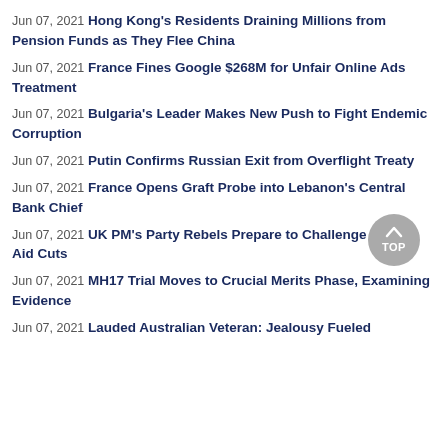Jun 07, 2021 Hong Kong's Residents Draining Millions from Pension Funds as They Flee China
Jun 07, 2021 France Fines Google $268M for Unfair Online Ads Treatment
Jun 07, 2021 Bulgaria's Leader Makes New Push to Fight Endemic Corruption
Jun 07, 2021 Putin Confirms Russian Exit from Overflight Treaty
Jun 07, 2021 France Opens Graft Probe into Lebanon's Central Bank Chief
Jun 07, 2021 UK PM's Party Rebels Prepare to Challenge Foreign Aid Cuts
Jun 07, 2021 MH17 Trial Moves to Crucial Merits Phase, Examining Evidence
Jun 07, 2021 Lauded Australian Veteran: Jealousy Fueled